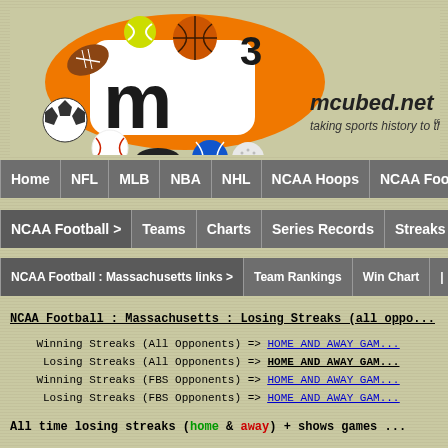[Figure (logo): mcubed.net logo with m3 text and sports balls (football, basketball, tennis ball, soccer ball, baseball, hockey puck, volleyball, golf ball), orange background, with tagline 'mcubed.net taking sports history to the 3rd power!']
Home | NFL | MLB | NBA | NHL | NCAA Hoops | NCAA Football
NCAA Football > | Teams | Charts | Series Records | Streaks
NCAA Football : Massachusetts links > | Team Rankings | Win Chart
NCAA Football : Massachusetts : Losing Streaks (all oppo...
Winning Streaks (All Opponents) => HOME AND AWAY GAM...
Losing Streaks (All Opponents) => HOME AND AWAY GAM... (bold)
Winning Streaks (FBS Opponents) => HOME AND AWAY GAM...
Losing Streaks (FBS Opponents) => HOME AND AWAY GAM...
All time losing streaks (home & away) + shows games ...